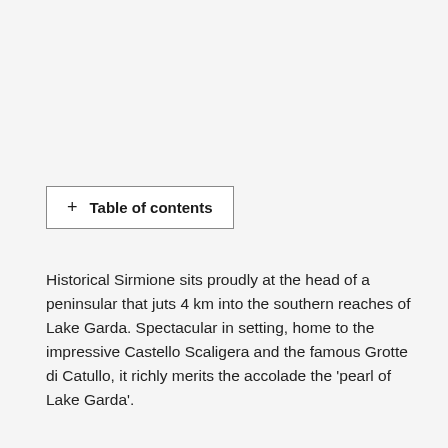+ Table of contents
Historical Sirmione sits proudly at the head of a peninsular that juts 4 km into the southern reaches of Lake Garda. Spectacular in setting, home to the impressive Castello Scaligera and the famous Grotte di Catullo, it richly merits the accolade the ‘pearl of Lake Garda’.